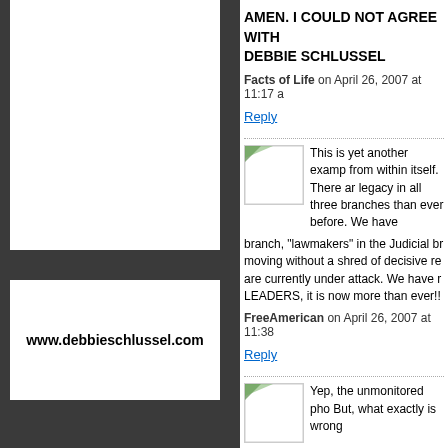AMEN. I COULD NOT AGREE WITH DEBBIE SCHLUSSEL
Facts of Life on April 26, 2007 at 11:17 a
Reply
This is yet another examp from within itself. There ar legacy in all three branches than ever before. We have branch, "lawmakers" in the Judicial br moving without a shred of decisive re are currently under attack. We have r LEADERS, it is now more than ever!!
FreeAmerican on April 26, 2007 at 11:38
Reply
Yep, the unmonitored pho But, what exactly is wrong
www.debbieschlussel.com